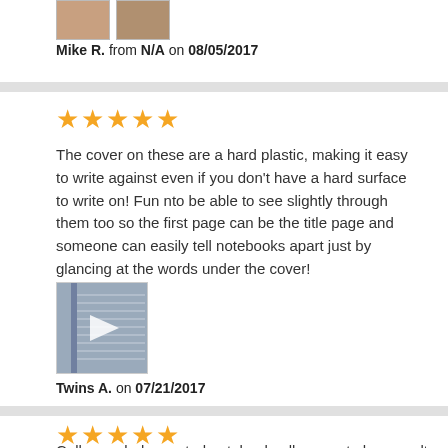Mike R. from N/A on 08/05/2017
[Figure (photo): Two small thumbnail images at the top of the page]
★★★★★
The cover on these are a hard plastic, making it easy to write against even if you don't have a hard surface to write on! Fun nto be able to see slightly through them too so the first page can be the title page and someone can easily tell notebooks apart just by glancing at the words under the cover!
[Figure (photo): Video thumbnail showing a notebook with a play button overlay]
Twins A. on 07/21/2017
★★★★★
College ruled assorted notebook, allows us to have multiple